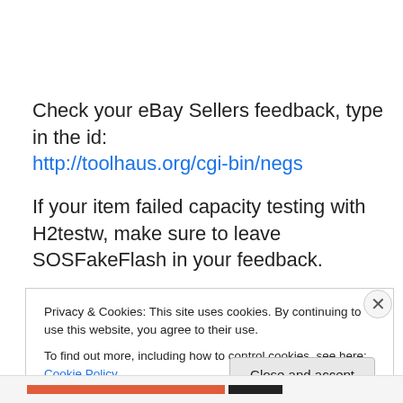Check your eBay Sellers feedback, type in the id:
http://toolhaus.org/cgi-bin/negs
If your item failed capacity testing with H2testw, make sure to leave SOSFakeFlash in your feedback.
SOSFakeFlash has asked us to remind you on the importance of sending SOSFakeFlash all addressing
Privacy & Cookies: This site uses cookies. By continuing to use this website, you agree to their use.
To find out more, including how to control cookies, see here: Cookie Policy
Close and accept